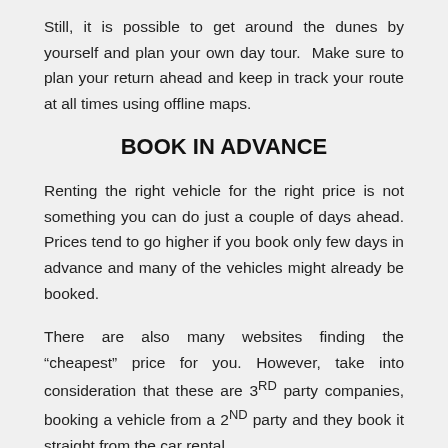Still, it is possible to get around the dunes by yourself and plan your own day tour.  Make sure to plan your return ahead and keep in track your route at all times using offline maps.
BOOK IN ADVANCE
Renting the right vehicle for the right price is not something you can do just a couple of days ahead. Prices tend to go higher if you book only few days in advance and many of the vehicles might already be booked.
There are also many websites finding the “cheapest” price for you. However, take into consideration that these are 3RD party companies, booking a vehicle from a 2ND party and they book it straight from the car rental